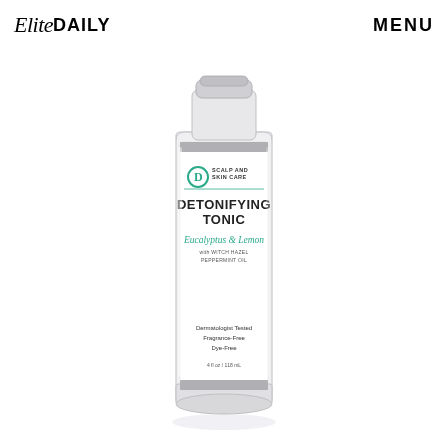Elite DAILY   MENU
[Figure (photo): A clear glass bottle of D Scalp and Skin Care Detoxifying Tonic with Eucalyptus & Lemon, with Witch Hazel, Peppermint Oil. Labeled Dermatologist Tested, Fragrance-Free, Dye-Free. 4 fl oz / 118 mL.]